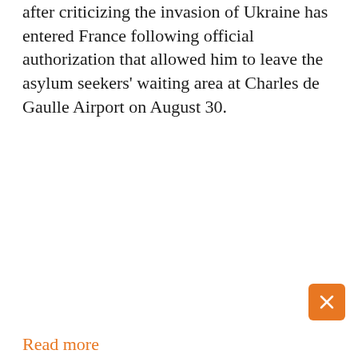after criticizing the invasion of Ukraine has entered France following official authorization that allowed him to leave the asylum seekers' waiting area at Charles de Gaulle Airport on August 30.
Read more
[Figure (other): Social sharing icons row: Facebook (dark blue), Twitter (light blue), VK (dark blue), Email (dark grey), More (grey) circular buttons]
Load more